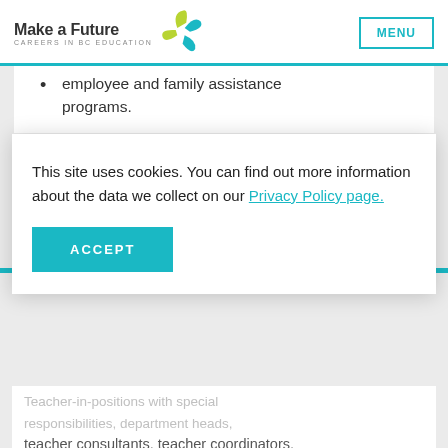Make a Future — CAREERS IN BC EDUCATION | MENU
employee and family assistance programs.
This site uses cookies. You can find out more information about the data we collect on our Privacy Policy page.
ACCEPT
Teacher-in-positions with special responsibilities, department heads, teacher consultants, teacher coordinators,